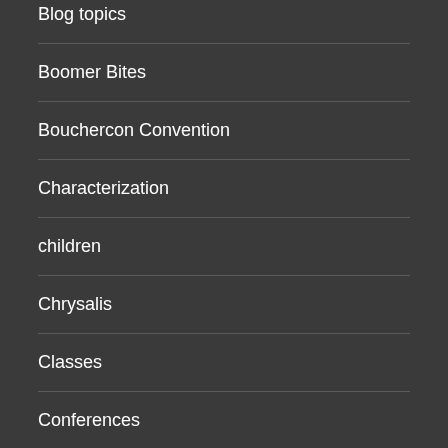Blog topics
Boomer Bites
Bouchercon Convention
Characterization
children
Chrysalis
Classes
Conferences
Creativity